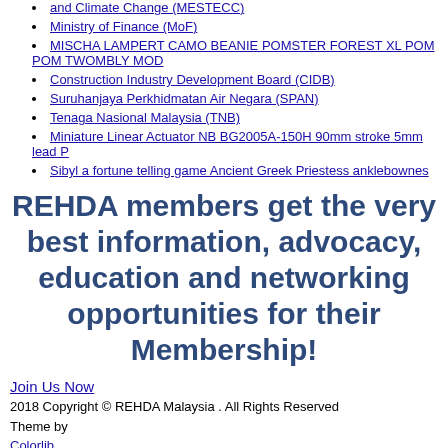and Climate Change (MESTECC)
Ministry of Finance (MoF)
MISCHA LAMPERT CAMO BEANIE POMSTER FOREST XL POM POM TWOMBLY MOD
Construction Industry Development Board (CIDB)
Suruhanjaya Perkhidmatan Air Negara (SPAN)
Tenaga Nasional Malaysia (TNB)
Miniature Linear Actuator NB BG2005A-150H 90mm stroke 5mm lead P
Sibyl a fortune telling game Ancient Greek Priestess anklebownes
REHDA members get the very best information, advocacy, education and networking opportunities for their Membership!
Join Us Now
2018 Copyright © REHDA Malaysia . All Rights Reserved
Theme by
Colorlib
Powered by
WordPress